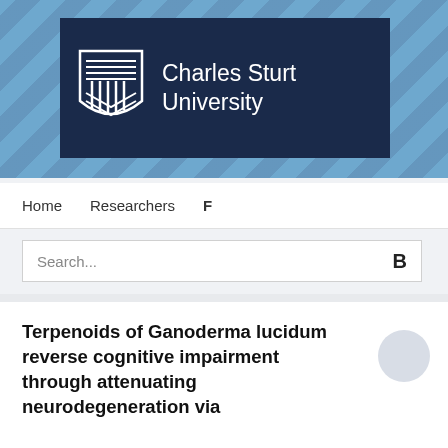[Figure (logo): Charles Sturt University logo banner with dark navy rectangle containing shield logo and university name on blue diagonal-striped background]
Home   Researchers   F
Search...
Terpenoids of Ganoderma lucidum reverse cognitive impairment through attenuating neurodegeneration via